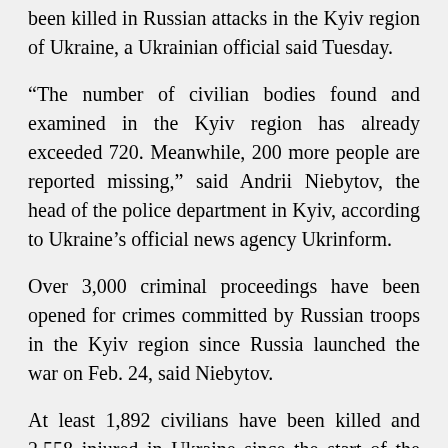been killed in Russian attacks in the Kyiv region of Ukraine, a Ukrainian official said Tuesday.
“The number of civilian bodies found and examined in the Kyiv region has already exceeded 720. Meanwhile, 200 more people are reported missing,” said Andrii Niebytov, the head of the police department in Kyiv, according to Ukraine’s official news agency Ukrinform.
Over 3,000 criminal proceedings have been opened for crimes committed by Russian troops in the Kyiv region since Russia launched the war on Feb. 24, said Niebytov.
At least 1,892 civilians have been killed and 2,558 injured in Ukraine since the start of the war, according to UN estimates, with the true figure